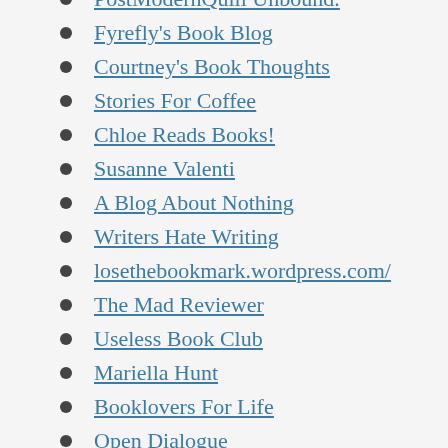PostModernQuill Unbound.
Fyrefly's Book Blog
Courtney's Book Thoughts
Stories For Coffee
Chloe Reads Books!
Susanne Valenti
A Blog About Nothing
Writers Hate Writing
losethebookmark.wordpress.com/
The Mad Reviewer
Useless Book Club
Mariella Hunt
Booklovers For Life
Open Dialogue